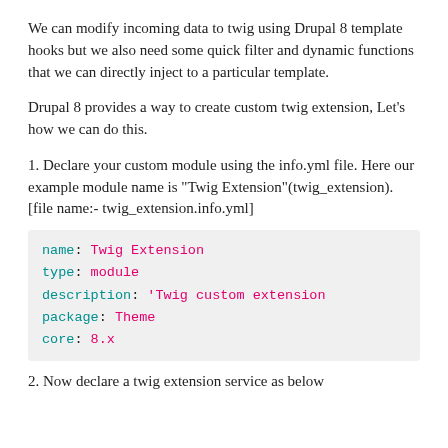We can modify incoming data to twig using Drupal 8 template hooks but we also need some quick filter and dynamic functions that we can directly inject to a particular template.
Drupal 8 provides a way to create custom twig extension, Let's how we can do this.
1. Declare your custom module using the info.yml file. Here our example module name is "Twig Extension"(twig_extension). [file name:- twig_extension.info.yml]
[Figure (screenshot): Code block showing YAML configuration: name: Twig Extension, type: module, description: 'Twig custom extension', package: Theme, core: 8.x]
2. Now declare a twig extension service as below